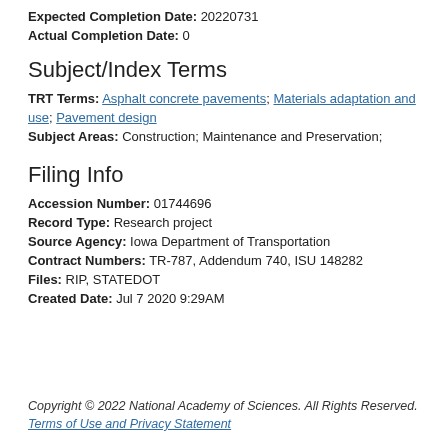Expected Completion Date: 20220731
Actual Completion Date: 0
Subject/Index Terms
TRT Terms: Asphalt concrete pavements; Materials adaptation and use; Pavement design
Subject Areas: Construction; Maintenance and Preservation;
Filing Info
Accession Number: 01744696
Record Type: Research project
Source Agency: Iowa Department of Transportation
Contract Numbers: TR-787, Addendum 740, ISU 148282
Files: RIP, STATEDOT
Created Date: Jul 7 2020 9:29AM
Copyright © 2022 National Academy of Sciences. All Rights Reserved. Terms of Use and Privacy Statement